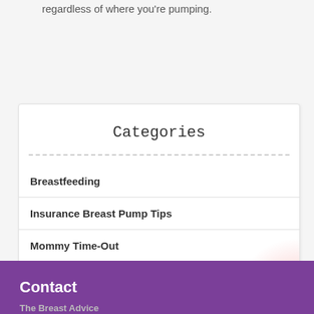regardless of where you're pumping.
Categories
Breastfeeding
Insurance Breast Pump Tips
Mommy Time-Out
Parenting Support
Contact
The Breast Advice